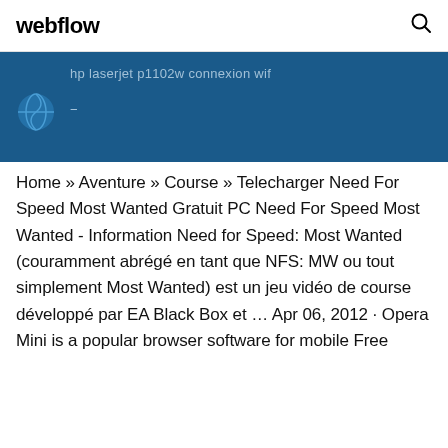webflow
[Figure (screenshot): Dark blue banner with partially visible text 'hp laserjet p1102w connexion wif' and a globe icon, with a dash below it]
Home » Aventure » Course » Telecharger Need For Speed Most Wanted Gratuit PC Need For Speed Most Wanted - Information Need for Speed: Most Wanted (couramment abrégé en tant que NFS: MW ou tout simplement Most Wanted) est un jeu vidéo de course développé par EA Black Box et … Apr 06, 2012 · Opera Mini is a popular browser software for mobile Free